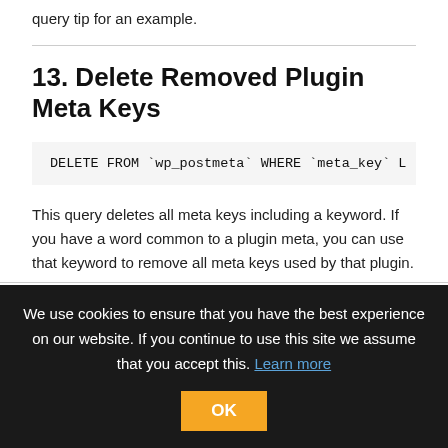query tip for an example.
13. Delete Removed Plugin Meta Keys
DELETE FROM `wp_postmeta` WHERE `meta_key` L
This query deletes all meta keys including a keyword. If you have a word common to a plugin meta, you can use that keyword to remove all meta keys used by that plugin.
We use cookies to ensure that you have the best experience on our website. If you continue to use this site we assume that you accept this. Learn more  OK